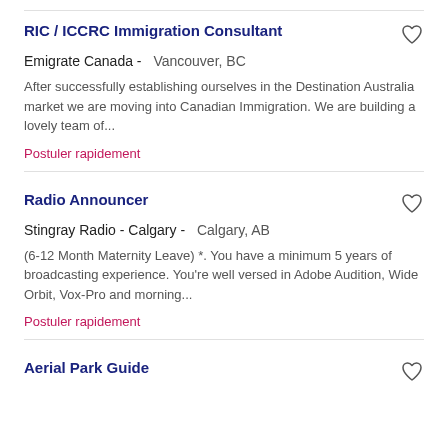RIC / ICCRC Immigration Consultant
Emigrate Canada -   Vancouver, BC
After successfully establishing ourselves in the Destination Australia market we are moving into Canadian Immigration. We are building a lovely team of...
Postuler rapidement
Radio Announcer
Stingray Radio - Calgary -   Calgary, AB
(6-12 Month Maternity Leave) *. You have a minimum 5 years of broadcasting experience. You're well versed in Adobe Audition, Wide Orbit, Vox-Pro and morning...
Postuler rapidement
Aerial Park Guide